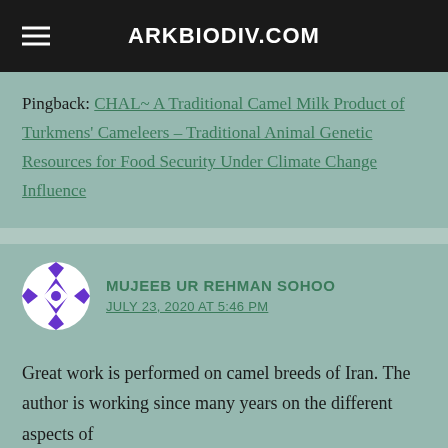ARKBIODIV.COM
Pingback: CHAL~ A Traditional Camel Milk Product of Turkmens' Cameleers – Traditional Animal Genetic Resources for Food Security Under Climate Change Influence
MUJEEB UR REHMAN SOHOO
JULY 23, 2020 AT 5:46 PM
Great work is performed on camel breeds of Iran. The author is working since many years on the different aspects of